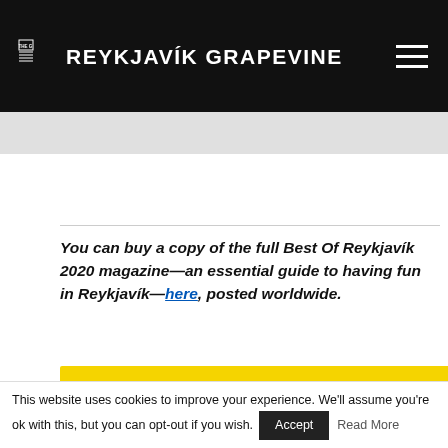THE G REYKJAVÍK GRAPEVINE
You can buy a copy of the full Best Of Reykjavík 2020 magazine—an essential guide to having fun in Reykjavík—here, posted worldwide.
[Figure (photo): Magazine cover of The Reykjavik Grapevine Special Issue – The City Awards, Spring Edition, featuring colorful feathered/hair decorations on a yellow background with the text 'ards' visible at the bottom right.]
This website uses cookies to improve your experience. We'll assume you're ok with this, but you can opt-out if you wish. Accept Read More